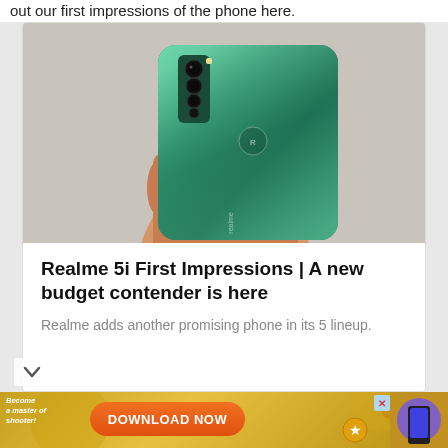out our first impressions of the phone here.
[Figure (photo): Hand holding a green Realme 5i smartphone showing the back with quad cameras and Realme logo]
Realme 5i First Impressions | A new budget contender is here
Realme adds another promising phone in its 5 lineup.
[Figure (infographic): Advertisement banner with 'Become a master of shooter!' text, orange Download Now button, and close X button on golden background]